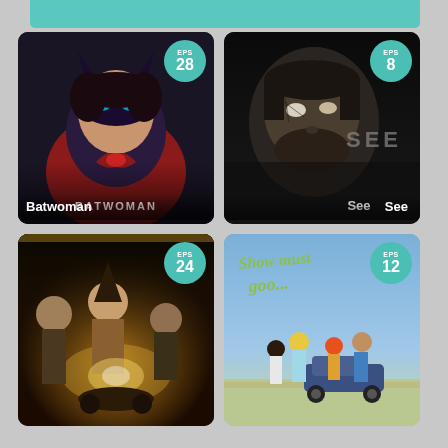[Figure (screenshot): Top decorative teal/cyan bar at the top of the page]
[Figure (screenshot): Batwoman TV show poster card with a superhero in a red and black bat costume. Badge shows EPS 28. Title: Batwoman]
[Figure (screenshot): See TV show poster card with close-up of bearded man's face in dark tones with 'SEE' text. Badge shows EPS 8. Title: See]
[Figure (screenshot): Fantasy/adventure show poster with child wizard and other characters in golden hues. Badge shows EPS 24. No title text visible.]
[Figure (screenshot): Show Must Go On anime poster with anime characters standing near a car under blue sky. Cursive title 'Show must goo...' visible. Badge shows EPS 12.]